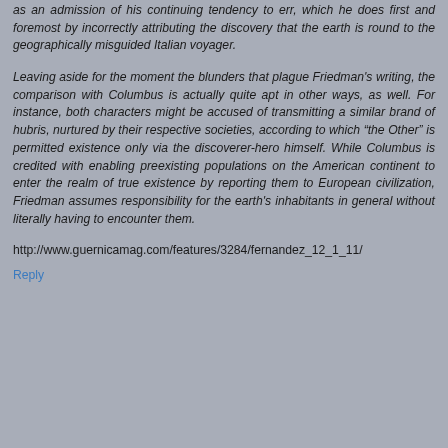as an admission of his continuing tendency to err, which he does first and foremost by incorrectly attributing the discovery that the earth is round to the geographically misguided Italian voyager.
Leaving aside for the moment the blunders that plague Friedman's writing, the comparison with Columbus is actually quite apt in other ways, as well. For instance, both characters might be accused of transmitting a similar brand of hubris, nurtured by their respective societies, according to which “the Other” is permitted existence only via the discoverer-hero himself. While Columbus is credited with enabling preexisting populations on the American continent to enter the realm of true existence by reporting them to European civilization, Friedman assumes responsibility for the earth's inhabitants in general without literally having to encounter them.
http://www.guernicamag.com/features/3284/fernandez_12_1_11/
Reply